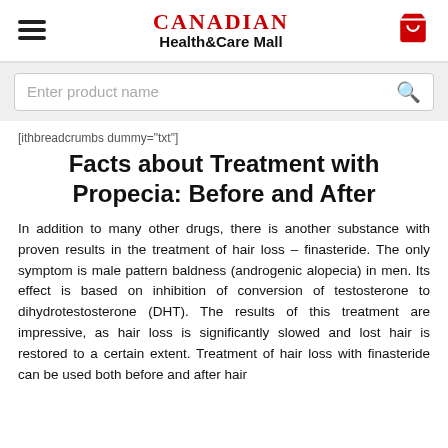Canadian Health&Care Mall
[ithbreadcrumbs dummy="txt"]
Facts about Treatment with Propecia: Before and After
In addition to many other drugs, there is another substance with proven results in the treatment of hair loss – finasteride. The only symptom is male pattern baldness (androgenic alopecia) in men. Its effect is based on inhibition of conversion of testosterone to dihydrotestosterone (DHT). The results of this treatment are impressive, as hair loss is significantly slowed and lost hair is restored to a certain extent. Treatment of hair loss with finasteride can be used both before and after hair